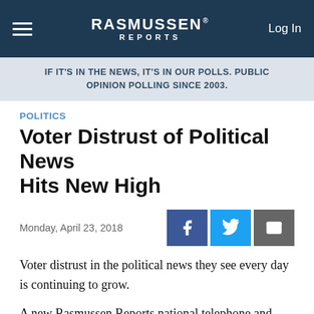RASMUSSEN REPORTS — Log In
IF IT'S IN THE NEWS, IT'S IN OUR POLLS. PUBLIC OPINION POLLING SINCE 2003.
POLITICS
Voter Distrust of Political News Hits New High
Monday, April 23, 2018
Voter distrust in the political news they see every day is continuing to grow.
A new Rasmussen Reports national telephone and online survey finds that 54% of Likely U.S.